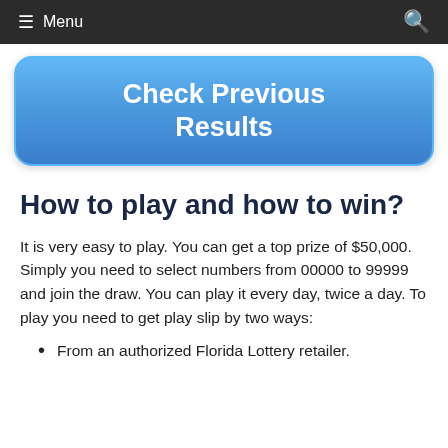Menu
[Figure (other): Blue rounded rectangle button labeled 'Check Previous Results']
How to play and how to win?
It is very easy to play. You can get a top prize of $50,000. Simply you need to select numbers from 00000 to 99999 and join the draw. You can play it every day, twice a day. To play you need to get play slip by two ways:
From an authorized Florida Lottery retailer.